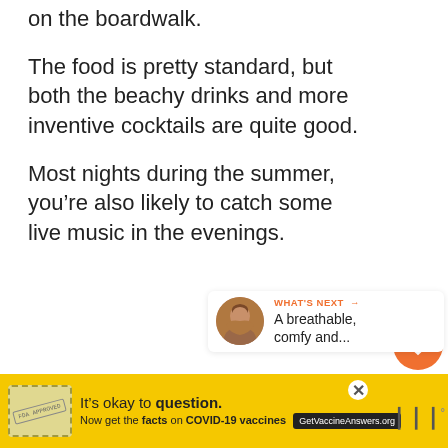on the boardwalk.
The food is pretty standard, but both the beachy drinks and more inventive cocktails are quite good.
Most nights during the summer, you’re also likely to catch some live music in the evenings.
[Figure (infographic): Orange heart/like button with count 224, and a share button below it on the right side of the page]
[Figure (infographic): What's Next panel with avatar photo and text 'A breathable, comfy and...']
[Figure (infographic): Yellow advertisement banner for COVID-19 vaccine information: 'It's okay to question. Now get the facts on COVID-19 vaccines. GetVaccineAnswers.org']